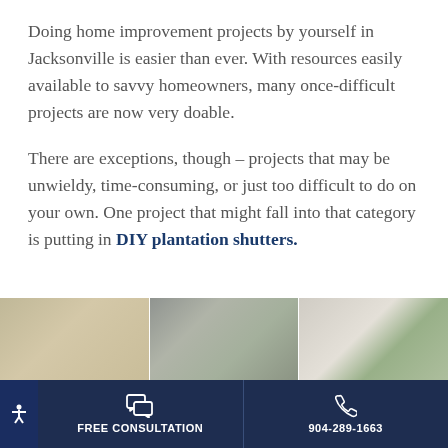Doing home improvement projects by yourself in Jacksonville is easier than ever. With resources easily available to savvy homeowners, many once-difficult projects are now very doable.
There are exceptions, though – projects that may be unwieldy, time-consuming, or just too difficult to do on your own. One project that might fall into that category is putting in DIY plantation shutters.
[Figure (photo): Interior room photo showing windows with plantation shutters and roller shades, three panes visible]
FREE CONSULTATION | 904-289-1663